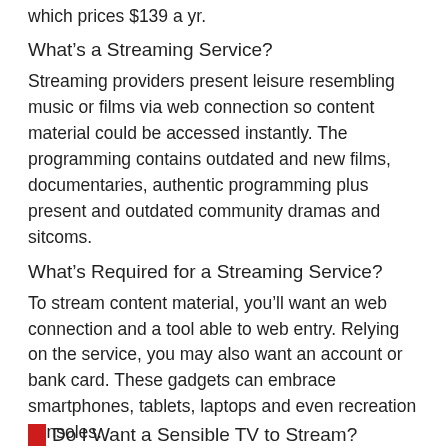which prices $139 a yr.
What’s a Streaming Service?
Streaming providers present leisure resembling music or films via web connection so content material could be accessed instantly. The programming contains outdated and new films, documentaries, authentic programming plus present and outdated community dramas and sitcoms.
What’s Required for a Streaming Service?
To stream content material, you’ll want an web connection and a tool able to web entry. Relying on the service, you may also want an account or bank card. These gadgets can embrace smartphones, tablets, laptops and even recreation consoles.
Do I Want a Sensible TV to Stream?